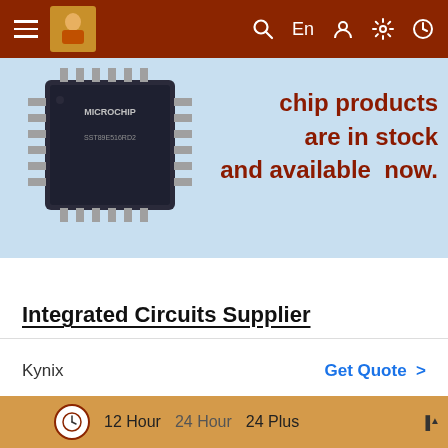≡ [logo] Q En [user] [settings] [clock]
[Figure (screenshot): Screenshot of a mobile app showing a Microchip branded IC chip on a light blue banner background with text 'chip products are in stock and available now.' and a navigation bar with hamburger menu, logo, search, En, user, settings, clock icons on a dark red background.]
Integrated Circuits Supplier
Kynix
Get Quote >
[Figure (screenshot): Calendar panel with a clock icon and 12 Hour, 24 Hour, 24 Plus time options, and month selection buttons Jan through Dec with Jul highlighted as active, and left/right navigation arrows.]